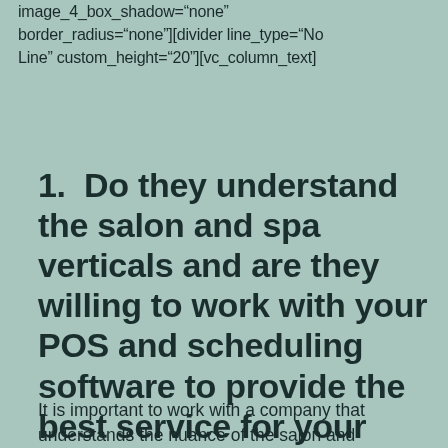image_4_box_shadow="none" border_radius="none"][divider line_type="No Line" custom_height="20"][vc_column_text]
1. Do they understand the salon and spa verticals and are they willing to work with your POS and scheduling software to provide the best service for your Merchants?
It is important to work with a company that understands the nuance of the salon and